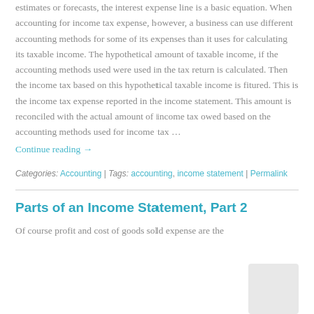estimates or forecasts, the interest expense line is a basic equation. When accounting for income tax expense, however, a business can use different accounting methods for some of its expenses than it uses for calculating its taxable income. The hypothetical amount of taxable income, if the accounting methods used were used in the tax return is calculated. Then the income tax based on this hypothetical taxable income is fitured. This is the income tax expense reported in the income statement. This amount is reconciled with the actual amount of income tax owed based on the accounting methods used for income tax …
Continue reading →
Categories: Accounting | Tags: accounting, income statement | Permalink
Parts of an Income Statement, Part 2
Of course profit and cost of goods sold expense are the